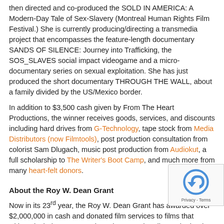then directed and co-produced the SOLD IN AMERICA: A Modern-Day Tale of Sex-Slavery (Montreal Human Rights Film Festival.)  She is currently producing/directing a transmedia project that encompasses the feature-length documentary SANDS OF SILENCE: Journey into Trafficking, the SOS_SLAVES social impact videogame and a micro-documentary series on sexual exploitation. She has just produced the short documentary THROUGH THE WALL, about a family divided by the US/Mexico border.
In addition to $3,500 cash given by From The Heart Productions, the winner receives goods, services, and discounts including hard drives from G-Technology, tape stock from Media Distributors (now Filmtools), post production consultation from colorist Sam Dlugach, music post production from Audiokut,  a full scholarship to The Writer's Boot Camp, and much more from many heart-felt donors.
About the Roy W. Dean Grant
Now in its 23rd year, the Roy W. Dean Grant has awarded over $2,000,000 in cash and donated film services to films that without its help may never have been made.  Films submitted to the grant can be short films, documentaries or features from early stages of pre-production to those needing help in post.
The grant has been integral in fostering award winning films.  Past winners of the grant that have been completed include the award winning "Heist: